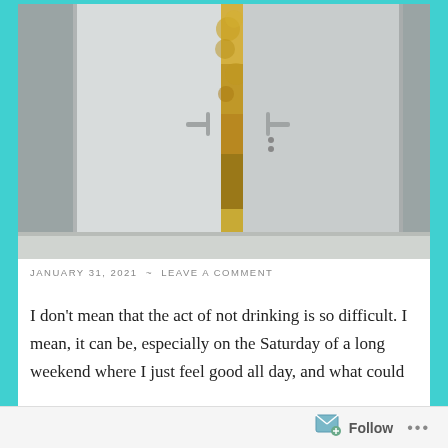[Figure (photo): A photograph of white double doors partially open, revealing golden autumn foliage outside through the gap. The doors are modern, white, with silver handles. The floor appears to be light-colored tile.]
JANUARY 31, 2021  ~  LEAVE A COMMENT
I don't mean that the act of not drinking is so difficult. I mean, it can be, especially on the Saturday of a long weekend where I just feel good all day, and what could